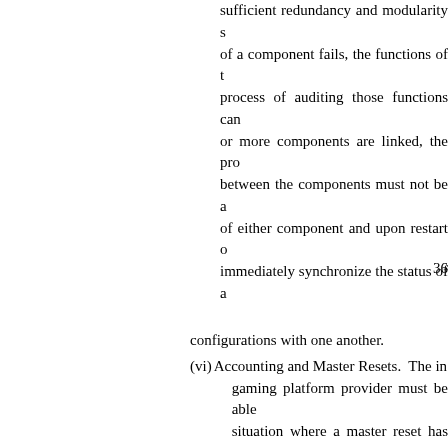sufficient redundancy and modularity so that if of a component fails, the functions of that component, the process of auditing those functions can continue. If two or more components are linked, the process of auditing between the components must not be affected by the failure of either component and upon restart of a component must immediately synchronize the status of a
36
configurations with one another.
(vi) Accounting and Master Resets. The internet gaming platform provider must be able to handle the situation where a master reset has occurred during internet gaming under the act.
(vii) Recovery Requirements. If there is internet gaming platform cannot be rec